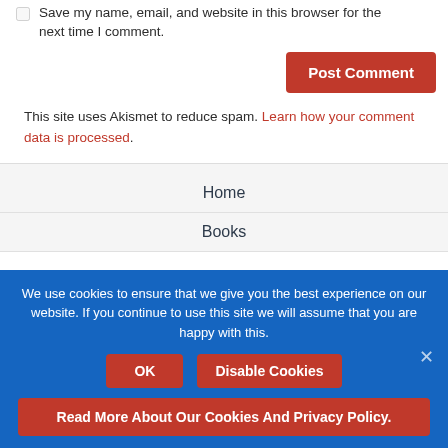Save my name, email, and website in this browser for the next time I comment.
Post Comment
This site uses Akismet to reduce spam. Learn how your comment data is processed.
Home
Books
We use cookies to ensure that we give you the best experience on our website. If you continue to use this site we will assume that you are happy with this.
OK
Disable Cookies
Read More About Our Cookies And Privacy Policy.